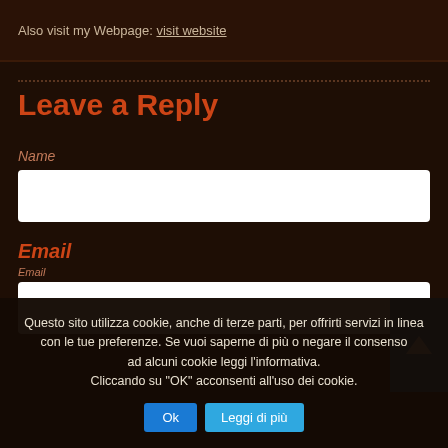Also visit my Webpage: [link]
Leave a Reply
Name
Email
Questo sito utilizza cookie, anche di terze parti, per offrirti servizi in linea con le tue preferenze. Se vuoi saperne di più o negare il consenso ad alcuni cookie leggi l'informativa. Cliccando su "OK" acconsenti all'uso dei cookie.